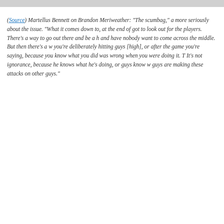(Source) Martellus Bennett on Brandon Meriweather: "The scumbag," and more seriously about the issue. "What it comes down to, at the end of the day, you got to look out for the players. There's a way to go out there and be a hard hitter and have nobody want to come across the middle. But then there's a way where you're deliberately hitting guys [high], or after the game you're saying, [things] because you know what you did was wrong when you were doing it. That's the thing. It's not ignorance, because he knows what he's doing, or guys know what they're doing, guys are making these attacks on other guys."